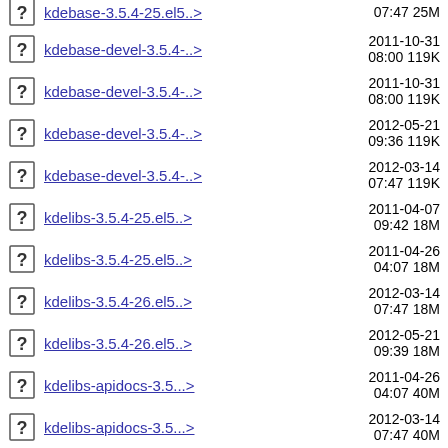kdebase-devel-3.5.4-..> 2011-10-31 08:00 119K
kdebase-devel-3.5.4-..> 2011-10-31 08:00 119K
kdebase-devel-3.5.4-..> 2012-05-21 09:36 119K
kdebase-devel-3.5.4-..> 2012-03-14 07:47 119K
kdelibs-3.5.4-25.el5..> 2011-04-07 09:42 18M
kdelibs-3.5.4-25.el5..> 2011-04-26 04:07 18M
kdelibs-3.5.4-26.el5..> 2012-03-14 07:47 18M
kdelibs-3.5.4-26.el5..> 2012-05-21 09:39 18M
kdelibs-apidocs-3.5...> 2011-04-26 04:07 40M
kdelibs-apidocs-3.5...> 2012-03-14 07:47 40M
kdelibs-devel-3.5.4-..> 2011-04-07 09:42 1.3M